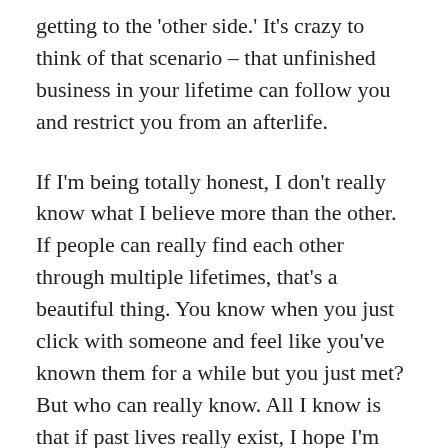getting to the 'other side.' It's crazy to think of that scenario – that unfinished business in your lifetime can follow you and restrict you from an afterlife.
If I'm being totally honest, I don't really know what I believe more than the other. If people can really find each other through multiple lifetimes, that's a beautiful thing. You know when you just click with someone and feel like you've known them for a while but you just met? But who can really know. All I know is that if past lives really exist, I hope I'm lucky enough to find people I love and connect with in this lifetime in the next lifetime. All this pastlife talk was the first thing that came to mind when I was trying to find the meaning of this quote. But then I thought harder.
Past lives doesn't always have to be dying. It can be